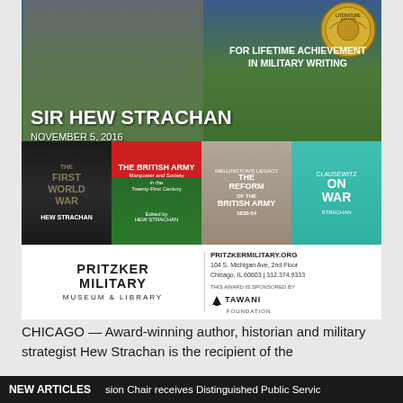[Figure (photo): Promotional event poster for Sir Hew Strachan receiving a Lifetime Achievement in Military Writing award at Pritzker Military Museum & Library, November 5, 2016. Features a photo of Sir Hew Strachan in a suit outdoors, a gold literature award medal badge, four book covers (The First World War, The British Army: Manpower and Society in the Twenty-First Century, Wellington's Legacy: The Reform of the British Army 1830-54, On War), and the Pritzker Military Museum & Library logo with contact information and Tawani Foundation sponsor logo.]
CHICAGO — Award-winning author, historian and military strategist Hew Strachan is the recipient of the
NEW ARTICLES   sion Chair receives Distinguished Public Servic